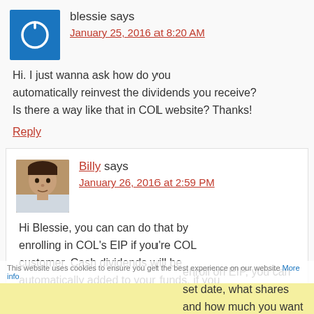blessie says
January 25, 2016 at 8:20 AM
Hi. I just wanna ask how do you automatically reinvest the dividends you receive? Is there a way like that in COL website? Thanks!
Reply
Billy says
January 26, 2016 at 2:59 PM
Hi Blessie, you can can do that by enrolling in COL's EIP if you're COL customer. Cash dividends will be automatically added to your funds, if you enroll on EIP, you can set date, what shares and how much you want to invest
This website uses cookies to ensure you get the best experience on our website More info
enroll on EIP, you can set date, what shares and how much you want to invest